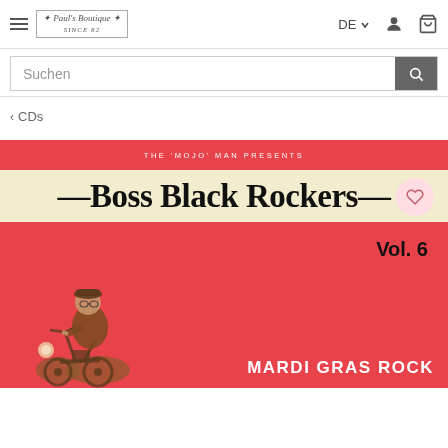≡ Paul's Boutique (logo) | DE ∨ (user icon) (cart icon)
Suchen
< CDs
[Figure (photo): Album cover for 'Boss Black Rockers Vol. 6 - Mardi Gras Rock' presented by The 'Mojo' Man. Red background with cream/ivory center panel showing bold black text 'Boss Black Rockers'. A sepia-toned photograph of a man in a cap and leather jacket riding a vintage motorcycle is shown in the lower left. 'Vol. 6' appears in the lower right area and 'Mardi Gras Rock' text is at the bottom right. A wishlist heart button overlays the upper right corner.]